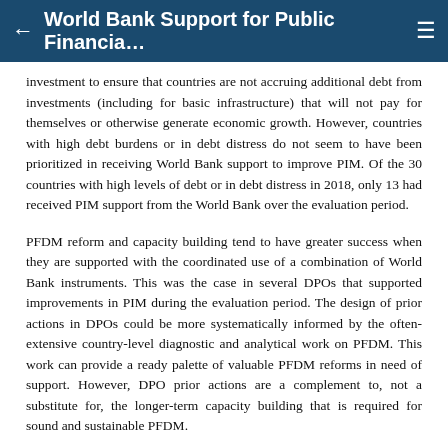World Bank Support for Public Financia...
investment to ensure that countries are not accruing additional debt from investments (including for basic infrastructure) that will not pay for themselves or otherwise generate economic growth. However, countries with high debt burdens or in debt distress do not seem to have been prioritized in receiving World Bank support to improve PIM. Of the 30 countries with high levels of debt or in debt distress in 2018, only 13 had received PIM support from the World Bank over the evaluation period.
PFDM reform and capacity building tend to have greater success when they are supported with the coordinated use of a combination of World Bank instruments. This was the case in several DPOs that supported improvements in PIM during the evaluation period. The design of prior actions in DPOs could be more systematically informed by the often-extensive country-level diagnostic and analytical work on PFDM. This work can provide a ready palette of valuable PFDM reforms in need of support. However, DPO prior actions are a complement to, not a substitute for, the longer-term capacity building that is required for sound and sustainable PFDM.